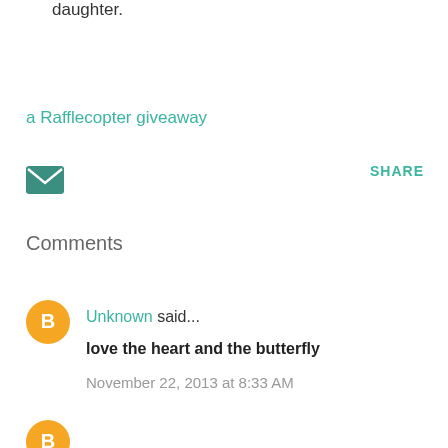daughter.
a Rafflecopter giveaway
[Figure (other): Email icon - green envelope]
SHARE
Comments
[Figure (other): Blogger avatar - orange circle with B]
Unknown said...
love the heart and the butterfly
November 22, 2013 at 8:33 AM
[Figure (other): Second avatar - orange circle]